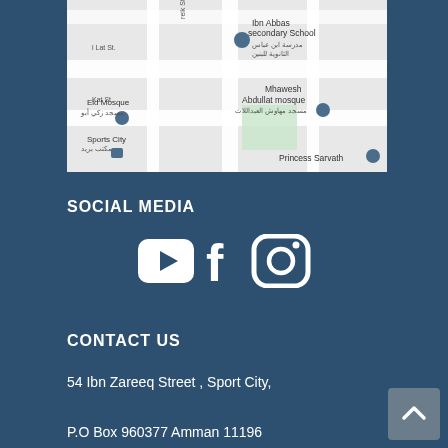[Figure (map): Google Maps screenshot showing streets near Ibn Abbas Secondary School, Mhawesh, Abdullat mosque, Eid Mosque, Sports City, Princess Sarvath area in Amman, Jordan]
SOCIAL MEDIA
[Figure (illustration): Three social media icons: YouTube play button (rounded rectangle), Facebook f logo, Instagram camera logo]
CONTACT US
54 Ibn Zareeq Street , Sport City,
P.O Box 960377 Amman 11196
Jordan